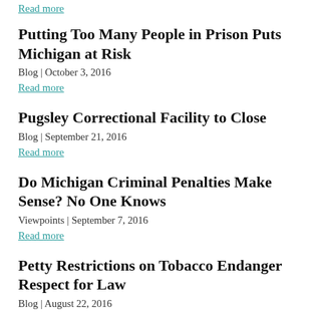Read more
Putting Too Many People in Prison Puts Michigan at Risk
Blog | October 3, 2016
Read more
Pugsley Correctional Facility to Close
Blog | September 21, 2016
Read more
Do Michigan Criminal Penalties Make Sense? No One Knows
Viewpoints | September 7, 2016
Read more
Petty Restrictions on Tobacco Endanger Respect for Law
Blog | August 22, 2016